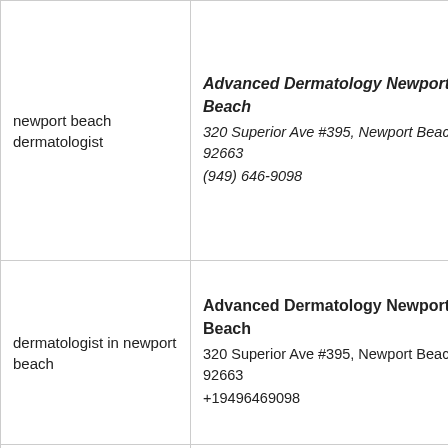|  |  |
| --- | --- |
| newport beach dermatologist | Advanced Dermatology Newport Beach
320 Superior Ave #395, Newport Beach, CA 92663
(949) 646-9098 |
| dermatologist in newport beach | Advanced Dermatology Newport Beach
320 Superior Ave #395, Newport Beach, CA 92663
+19496469098 |
|  | Advanced Dermatology Newport Beach... |